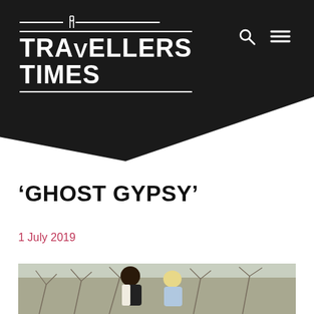[Figure (logo): Travellers Times logo in white text on dark background with decorative fork/tuning fork icon above the V]
[Figure (screenshot): Search icon (magnifying glass) and hamburger menu icon in white on dark background]
‘GHOST GYPSY’
1 July 2019
[Figure (photo): Two people outdoors, one with dark curly hair wearing a dark vest over white shirt leaning forward, another with blonde hair in light blue top, with bare winter trees in background]